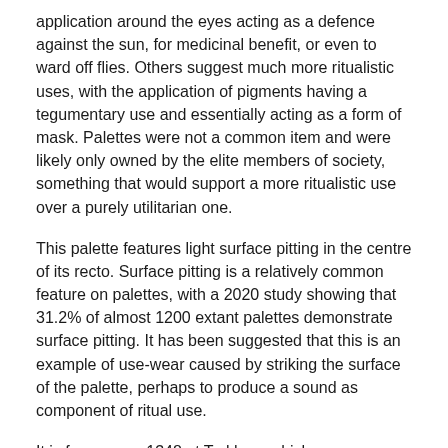application around the eyes acting as a defence against the sun, for medicinal benefit, or even to ward off flies. Others suggest much more ritualistic uses, with the application of pigments having a tegumentary use and essentially acting as a form of mask. Palettes were not a common item and were likely only owned by the elite members of society, something that would support a more ritualistic use over a purely utilitarian one.
This palette features light surface pitting in the centre of its recto. Surface pitting is a relatively common feature on palettes, with a 2020 study showing that 31.2% of almost 1200 extant palettes demonstrate surface pitting. It has been suggested that this is an example of use-wear caused by striking the surface of the palette, perhaps to produce a sound as component of ritual use.
It is from grave 1348 at Tarkhan, which was excavated by the British School of Archaeology in Egypt (BSAE) during their 1912–13 season. This grave belonged to a female, with the palette located directly behind her head. The object was gifted to the University of Wales, Aberystwyth by John Bancroft Willans, a subscriber of the British School of Archaeology in Egypt, who